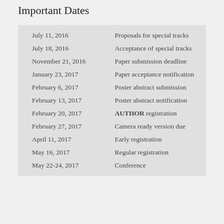Important Dates
| Date | Event |
| --- | --- |
| July 11, 2016 | Proposals for special tracks |
| July 18, 2016 | Acceptance of special tracks |
| November 21, 2016 | Paper submission deadline |
| January 23, 2017 | Paper acceptance notification |
| February 6, 2017 | Poster abstract submission |
| February 13, 2017 | Poster abstract notification |
| February 20, 2017 | AUTHOR registration |
| February 27, 2017 | Camera ready version due |
| April 11, 2017 | Early registration |
| May 16, 2017 | Regular registration |
| May 22-24, 2017 | Conference |